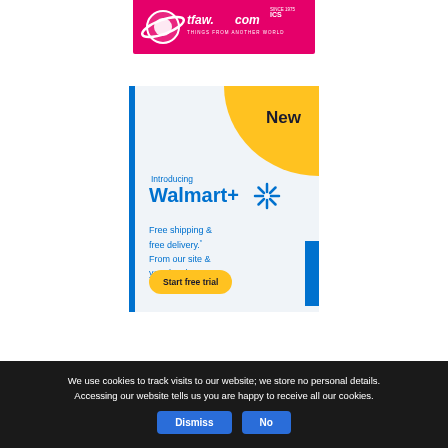[Figure (logo): TFAW.comics (Things From Another World) logo banner on pink/magenta background]
[Figure (infographic): Walmart+ advertisement: 'New' on yellow blob, 'Introducing Walmart+' with spark logo, 'Free shipping & free delivery. From our site & your local store.' with 'Start free trial' yellow button, blue left border and right tab accent]
We use cookies to track visits to our website; we store no personal details. Accessing our website tells us you are happy to receive all our cookies.
Dismiss  No